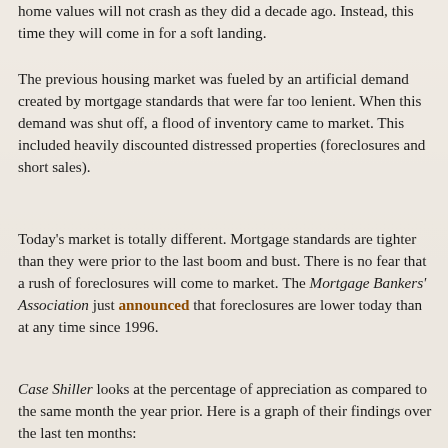home values will not crash as they did a decade ago. Instead, this time they will come in for a soft landing.
The previous housing market was fueled by an artificial demand created by mortgage standards that were far too lenient. When this demand was shut off, a flood of inventory came to market. This included heavily discounted distressed properties (foreclosures and short sales).
Today's market is totally different. Mortgage standards are tighter than they were prior to the last boom and bust. There is no fear that a rush of foreclosures will come to market. The Mortgage Bankers' Association just announced that foreclosures are lower today than at any time since 1996.
Case Shiller looks at the percentage of appreciation as compared to the same month the year prior. Here is a graph of their findings over the last ten months: